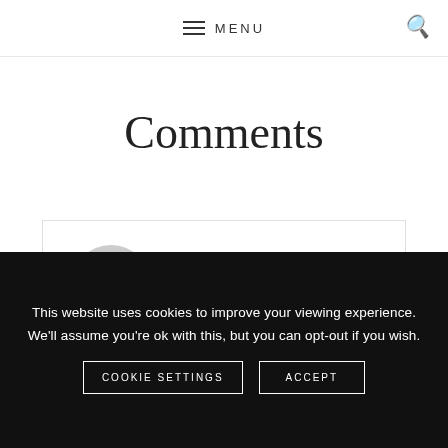MENU
Comments
sikis says
at
This website uses cookies to improve your viewing experience. We'll assume you're ok with this, but you can opt-out if you wish.
COOKIE SETTINGS   ACCEPT